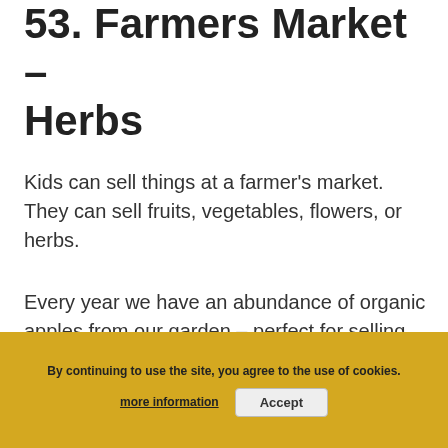53. Farmers Market – Herbs
Kids can sell things at a farmer's market. They can sell fruits, vegetables, flowers, or herbs.
Every year we have an abundance of organic apples from our garden – perfect for selling.
Herbs are great for kids, as they are cheap and easy to grow. They can easily be bundled up and sold.